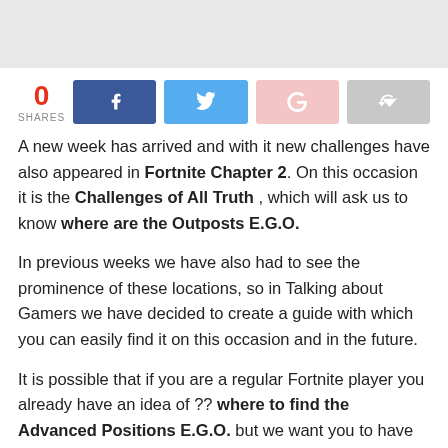[Figure (other): Gray banner/advertisement area at the top of the page]
0 SHARES
A new week has arrived and with it new challenges have also appeared in Fortnite Chapter 2. On this occasion it is the Challenges of All Truth , which will ask us to know where are the Outposts E.G.O.
In previous weeks we have also had to see the prominence of these locations, so in Talking about Gamers we have decided to create a guide with which you can easily find it on this occasion and in the future.
It is possible that if you are a regular Fortnite player you already have an idea of ?? where to find the Advanced Positions E.G.O. but we want you to have this tool in case you are not so clear.